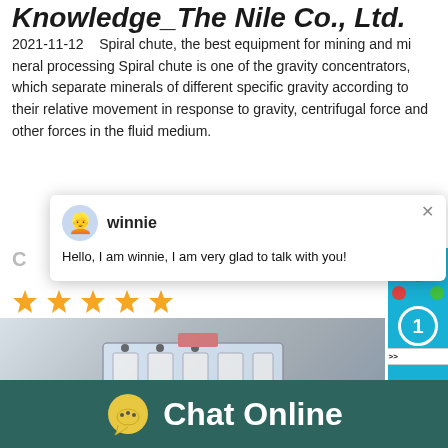Knowledge_The Nile Co., Ltd.
2021-11-12    Spiral chute, the best equipment for mining and mineral processing Spiral chute is one of the gravity concentrators, which separate minerals of different specific gravity according to their relative movement in response to gravity, centrifugal force and other forces in the fluid medium.
C...
[Figure (screenshot): Chat popup with avatar of 'winnie' and message: Hello, I am winnie, I am very glad to talk with you!]
[Figure (photo): Photo of industrial spiral chute mining equipment, white colored with multiple sections visible in a warehouse setting]
[Figure (screenshot): Blue panel with smiley face icon, number badge '1', and 'Click me to chat >>' button, with Enquiry label at bottom]
Chat Online